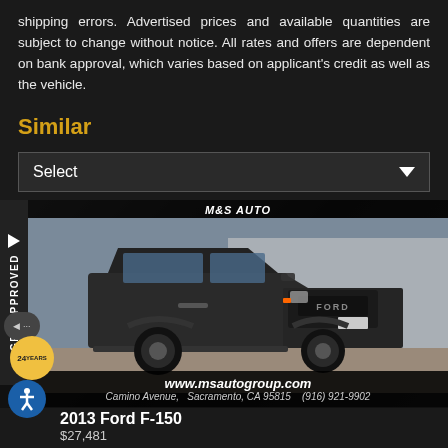shipping errors. Advertised prices and available quantities are subject to change without notice. All rates and offers are dependent on bank approval, which varies based on applicant's credit as well as the vehicle.
Similar
Select
[Figure (photo): Photo of a black Ford F-150 Raptor truck at M&S Auto dealership in Sacramento, CA. Shows the truck from front-left angle. Dealer website www.msautogroup.com and address Camino Avenue, Sacramento, CA 95815, (916) 921-9902 shown at bottom.]
2013 Ford F-150
$27,481